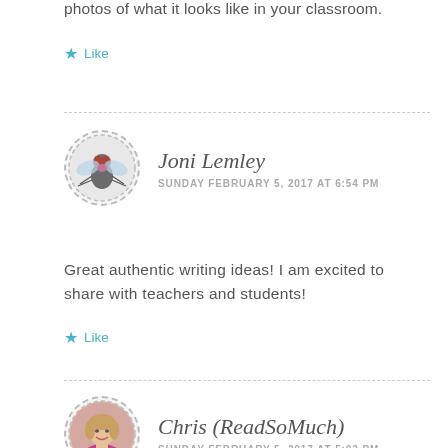photos of what it looks like in your classroom.
Like
Joni Lemley
SUNDAY FEBRUARY 5, 2017 AT 6:54 PM
Great authentic writing ideas! I am excited to share with teachers and students!
Like
Chris (ReadSoMuch)
SUNDAY FEBRUARY 5, 2017 AT 5:02 PM